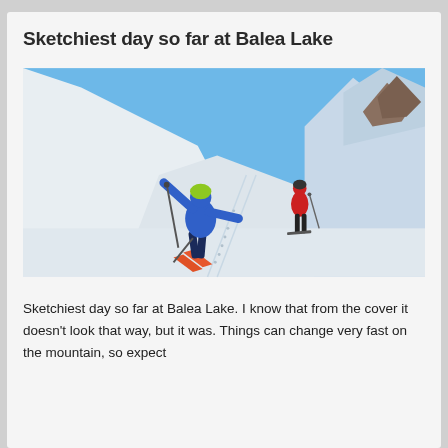Sketchiest day so far at Balea Lake
[Figure (photo): Skier in blue jacket and green helmet with arms outstretched on a snowy mountain slope, another skier in red behind, clear blue sky and snow-covered mountains in background]
Sketchiest day so far at Balea Lake. I know that from the cover it doesn't look that way, but it was. Things can change very fast on the mountain, so expect